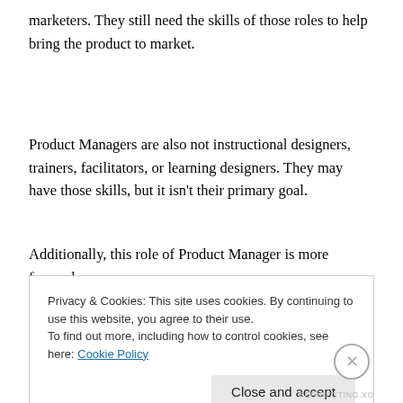marketers. They still need the skills of those roles to help bring the product to market.
Product Managers are also not instructional designers, trainers, facilitators, or learning designers. They may have those skills, but it isn't their primary goal.
Additionally, this role of Product Manager is more focused
Privacy & Cookies: This site uses cookies. By continuing to use this website, you agree to their use.
To find out more, including how to control cookies, see here: Cookie Policy
Close and accept